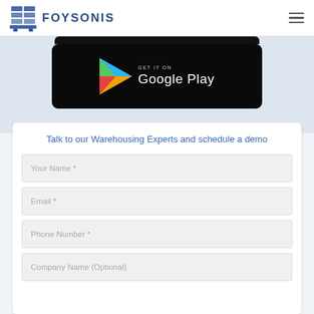FOYSONIS
[Figure (screenshot): Google Play Store download button badge with colorful play triangle logo and 'GET IT ON Google Play' text on black background]
Talk to our Warehousing Experts and schedule a demo
Your Name *
Email *
Phone Number *
Company Name (Optional)